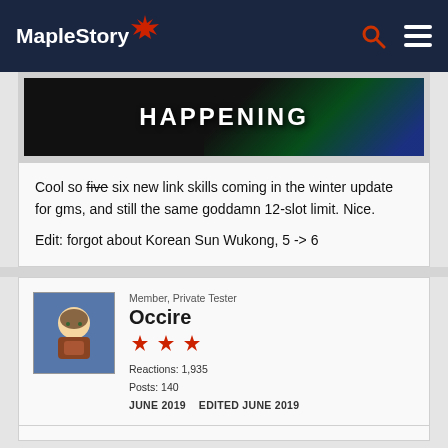MapleStory
[Figure (screenshot): Dark banner image showing the word HAPPENING in bold white text with green and blue light effects in background]
Cool so five six new link skills coming in the winter update for gms, and still the same goddamn 12-slot limit. Nice.

Edit: forgot about Korean Sun Wukong, 5 -> 6
Member, Private Tester
Occire
Reactions: 1,935
Posts: 140
JUNE 2019    EDITED JUNE 2019